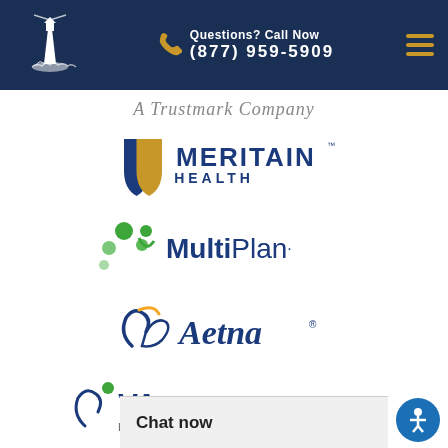Questions? Call Now (877) 959-5909
[Figure (logo): Lighthouse logo (white) on dark navy background — website header logo]
[Figure (logo): A Trustmark Company — italic script wordmark]
[Figure (logo): Meritain Health logo — blue and gold shield with MERITAIN HEALTH text]
[Figure (logo): MultiPlan logo — green figure/dots icon with MultiPlan. text]
[Figure (logo): Aetna logo — blue cursive figure and Aetna wordmark with registered trademark]
[Figure (logo): VA (Veterans Affairs / Valor) logo — partially visible, bottom of page]
Chat now